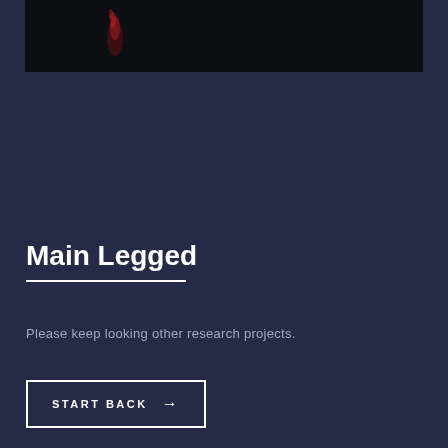[Figure (photo): Dark background image with a faint flame or red figure visible in the upper portion]
Main Legged
Please keep looking other research projects.
START BACK →